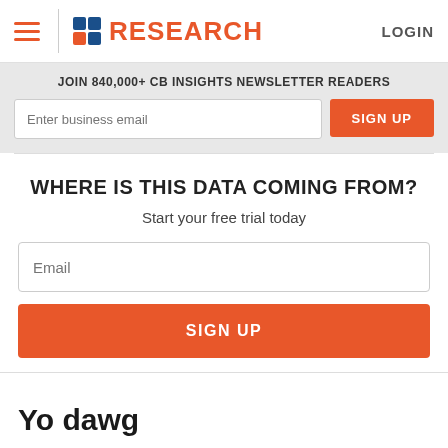CB Insights RESEARCH LOGIN
JOIN 840,000+ CB INSIGHTS NEWSLETTER READERS
Enter business email   SIGN UP
WHERE IS THIS DATA COMING FROM?
Start your free trial today
Email
SIGN UP
Yo dawg